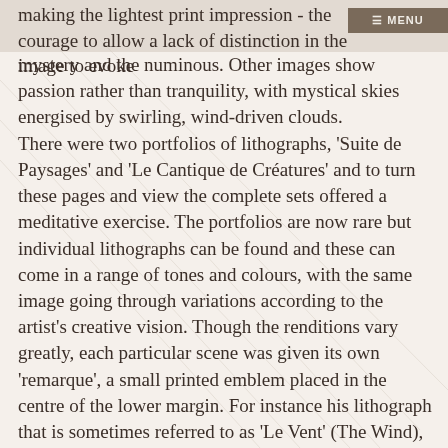making the lightest print impression - the courage to allow a lack of distinction in the image to evoke
mystery and the numinous. Other images show passion rather than tranquility, with mystical skies energised by swirling, wind-driven clouds. There were two portfolios of lithographs, 'Suite de Paysages' and 'Le Cantique de Créatures' and to turn these pages and view the complete sets offered a meditative exercise. The portfolios are now rare but individual lithographs can be found and these can come in a range of tones and colours, with the same image going through variations according to the artist's creative vision. Though the renditions vary greatly, each particular scene was given its own 'remarque', a small printed emblem placed in the centre of the lower margin. For instance his lithograph that is sometimes referred to as 'Le Vent' (The Wind), always has a coiled snake remarque; others have a bat emblem or types of flowers.